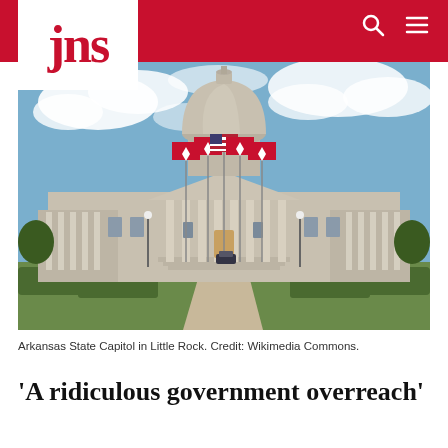jns
[Figure (photo): Arkansas State Capitol building in Little Rock, with dome, columns, flags, and a tree-lined approach path under a partly cloudy blue sky.]
Arkansas State Capitol in Little Rock. Credit: Wikimedia Commons.
'A ridiculous government overreach'